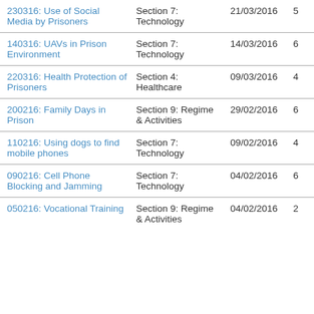| 230316: Use of Social Media by Prisoners | Section 7: Technology | 21/03/2016 | 5 |
| 140316: UAVs in Prison Environment | Section 7: Technology | 14/03/2016 | 6 |
| 220316: Health Protection of Prisoners | Section 4: Healthcare | 09/03/2016 | 4 |
| 200216: Family Days in Prison | Section 9: Regime & Activities | 29/02/2016 | 6 |
| 110216: Using dogs to find mobile phones | Section 7: Technology | 09/02/2016 | 4 |
| 090216: Cell Phone Blocking and Jamming | Section 7: Technology | 04/02/2016 | 6 |
| 050216: Vocational Training | Section 9: Regime & Activities | 04/02/2016 | 2 |